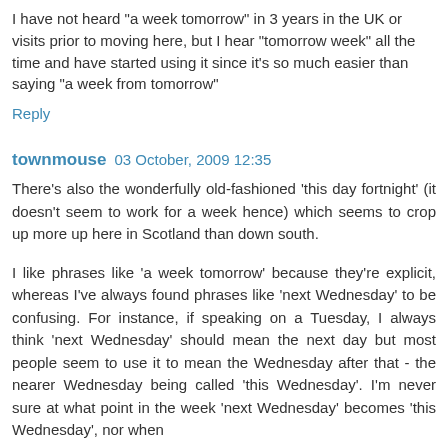I have not heard "a week tomorrow" in 3 years in the UK or visits prior to moving here, but I hear "tomorrow week" all the time and have started using it since it's so much easier than saying "a week from tomorrow"
Reply
townmouse  03 October, 2009 12:35
There's also the wonderfully old-fashioned 'this day fortnight' (it doesn't seem to work for a week hence) which seems to crop up more up here in Scotland than down south.
I like phrases like 'a week tomorrow' because they're explicit, whereas I've always found phrases like 'next Wednesday' to be confusing. For instance, if speaking on a Tuesday, I always think 'next Wednesday' should mean the next day but most people seem to use it to mean the Wednesday after that - the nearer Wednesday being called 'this Wednesday'. I'm never sure at what point in the week 'next Wednesday' becomes 'this Wednesday', nor when